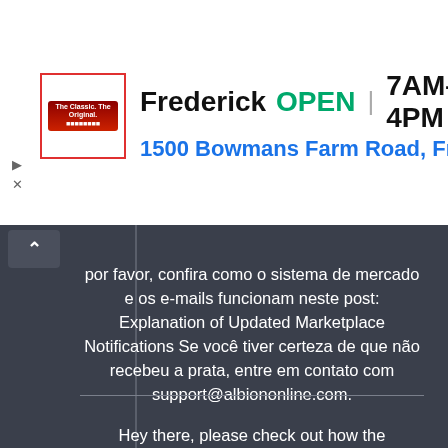[Figure (screenshot): Ad banner showing Frederick business listing with red-bordered logo, name 'Frederick', green 'OPEN' label, hours '7AM–4PM', address '1500 Bowmans Farm Road, Fre...', and a blue navigation diamond icon on the right.]
por favor, confira como o sistema de mercado e os e-mails funcionam neste post: Explanation of Updated Marketplace Notifications Se você tiver certeza de que não recebeu a prata, entre em contato com support@albiononline.com.
Hey there, please check out how the